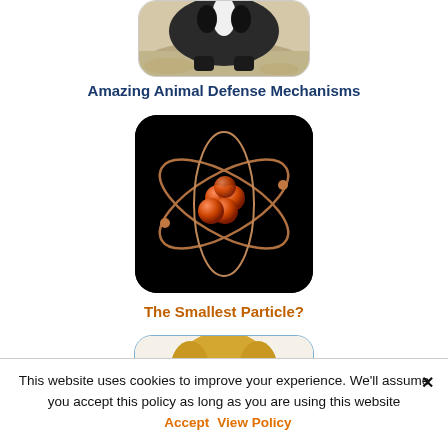[Figure (photo): Partial view of an animal (appears to be a badger or similar animal) on sandy/rocky ground, cropped at top, rounded rectangle frame]
Amazing Animal Defense Mechanisms
[Figure (illustration): Atom model illustration with reddish-orange spheres as nucleus and copper-colored orbital rings, on a black rounded-rectangle background]
The Smallest Particle?
[Figure (photo): Partial view of a blonde child or person, cropped, in a rounded rectangle frame with light blue border]
This website uses cookies to improve your experience. We'll assume you accept this policy as long as you are using this website  Accept  View Policy